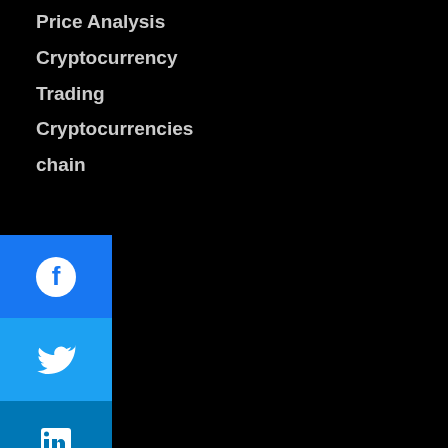Price Analysis
Cryptocurrency
Trading
Cryptocurrencies
blockchain
[Figure (infographic): Social media sharing sidebar with Facebook (blue), Twitter (light blue), LinkedIn (dark blue), and more (+) buttons]
ain   blockchain   bsc   crypto   cryptocurrency
doge   Meme Token   mining   Nebulaplan
poker   Quarkhash
About Us / Contact Us   Associated with Blockchain Press Media Network.